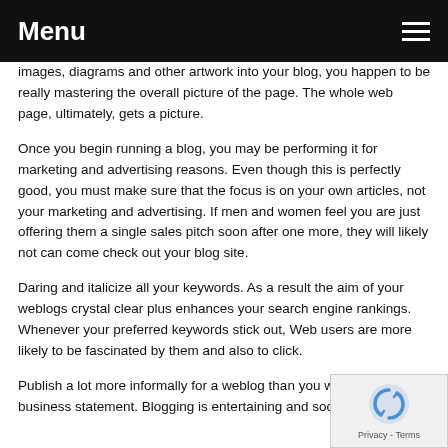Menu
images, diagrams and other artwork into your blog, you happen to be really mastering the overall picture of the page. The whole web page, ultimately, gets a picture.
Once you begin running a blog, you may be performing it for marketing and advertising reasons. Even though this is perfectly good, you must make sure that the focus is on your own articles, not your marketing and advertising. If men and women feel you are just offering them a single sales pitch soon after one more, they will likely not can come check out your blog site.
Daring and italicize all your keywords. As a result the aim of your weblogs crystal clear plus enhances your search engine rankings. Whenever your preferred keywords stick out, Web users are more likely to be fascinated by them and also to click.
Publish a lot more informally for a weblog than you will d… article or business statement. Blogging is entertaining and social